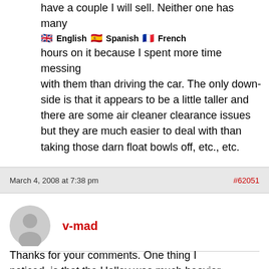have a couple I will sell. Neither one has many hours on it because I spent more time messing with them than driving the car. The only downside is that it appears to be a little taller and there are some air cleaner clearance issues but they are much easier to deal with than taking those darn float bowls off, etc., etc.
March 4, 2008 at 7:38 pm
#62051
v-mad
Thanks for your comments. One thing I noticed, is that the Holley was much heavier (6kg) than the Autolite carb (2kg). Can anyone